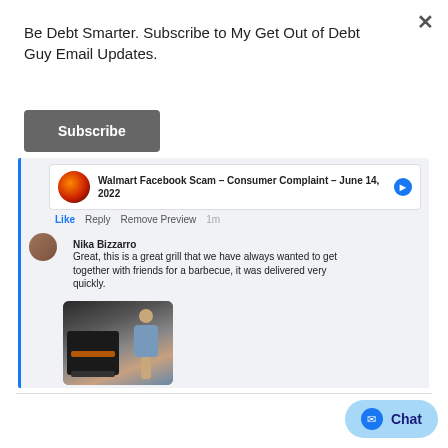Be Debt Smarter. Subscribe to My Get Out of Debt Guy Email Updates.
[Figure (screenshot): Subscribe button - dark gray rounded rectangle with white bold text 'Subscribe']
[Figure (screenshot): Facebook post screenshot showing a link preview for 'Walmart Facebook Scam - Consumer Complaint - June 14, 2022', with a comment from Nika Bizzarro saying 'Great, this is a great grill that we have always wanted to get together with friends for a barbecue, it was delivered very quickly.' with a photo of a man standing next to a grill. Reaction icons and '10' count visible. Reply link shows '1 Reply'.]
[Figure (screenshot): Chat button in bottom right corner - light blue pill shape with messenger icon and text 'Chat']